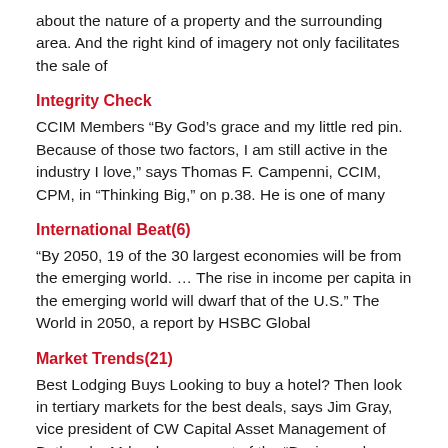about the nature of a property and the surrounding area. And the right kind of imagery not only facilitates the sale of
Integrity Check
CCIM Members “By God’s grace and my little red pin. Because of those two factors, I am still active in the industry I love,” says Thomas F. Campenni, CCIM, CPM, in “Thinking Big,” on p.38. He is one of many
International Beat(6)
“By 2050, 19 of the 30 largest economies will be from the emerging world. … The rise in income per capita in the emerging world will dwarf that of the U.S.” The World in 2050, a report by HSBC Global
Market Trends(21)
Best Lodging Buys Looking to buy a hotel? Then look in tertiary markets for the best deals, says Jim Gray, vice president of CW Capital Asset Management of Bethesda, Md., who was part of the “Buying and Selling Hotels